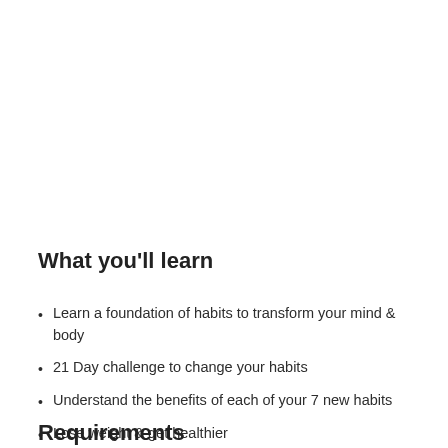What you'll learn
Learn a foundation of habits to transform your mind & body
21 Day challenge to change your habits
Understand the benefits of each of your 7 new habits
Lose weight & get healthier
Requirements